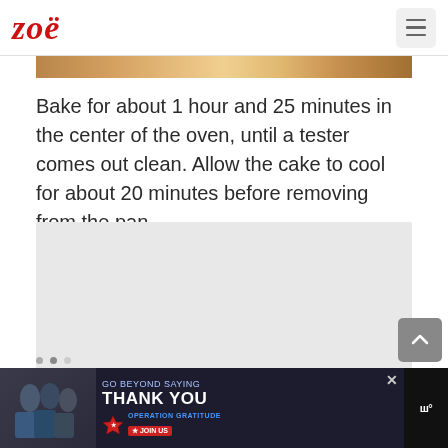zoë
[Figure (photo): Partial view of a baked cake or food item in a pan, showing a golden-brown crust, cropped at the top of the content area.]
Bake for about 1 hour and 25 minutes in the center of the oven, until a tester comes out clean. Allow the cake to cool for about 20 minutes before removing from the pan.
[Figure (photo): Partially visible image placeholder / advertisement area at the bottom of the page showing a 'GO BEYOND SAYING THANK YOU - OPERATION GRATITUDE - JOIN US' ad banner with people in the image.]